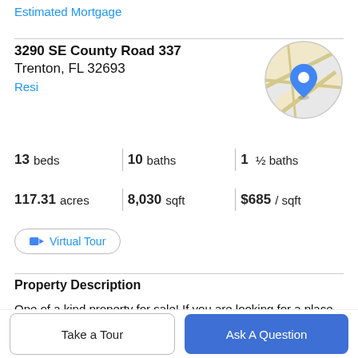Estimated Mortgage
3290 SE County Road 337
Trenton, FL 32693
Resi
[Figure (map): Circular map thumbnail showing a location pin on a road map]
13 beds   10 baths   1 ½ baths
117.31 acres   8,030 sqft   $685 / sqft
Virtual Tour
Property Description
One of a kind property for sale! If you are looking for a place to call home AND operate a successful business -
Take a Tour
Ask A Question